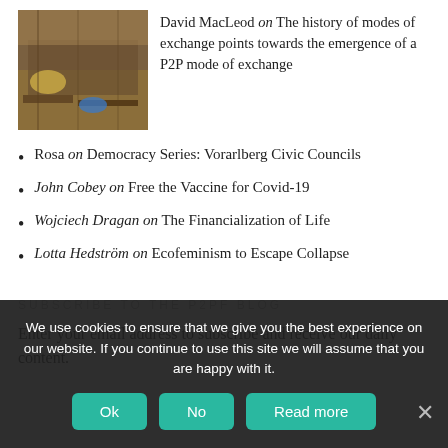[Figure (photo): Outdoor photo showing wooden planks, soil, and colorful items on the ground.]
David MacLeod on The history of modes of exchange points towards the emergence of a P2P mode of exchange
Rosa on Democracy Series: Vorarlberg Civic Councils
John Cobey on Free the Vaccine for Covid-19
Wojciech Dragan on The Financialization of Life
Lotta Hedström on Ecofeminism to Escape Collapse
SUBSCRIBE TO THE P2PF BLOG
Enter your email address to subscribe and receive our daily content.
We use cookies to ensure that we give you the best experience on our website. If you continue to use this site we will assume that you are happy with it.